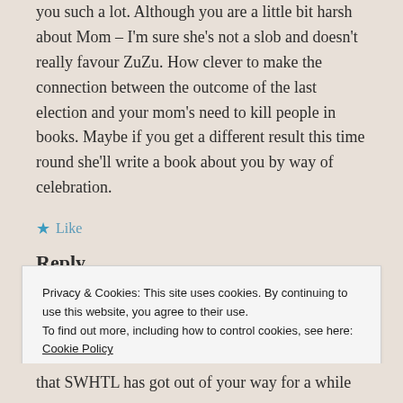you such a lot. Although you are a little bit harsh about Mom – I'm sure she's not a slob and doesn't really favour ZuZu. How clever to make the connection between the outcome of the last election and your mom's need to kill people in books. Maybe if you get a different result this time round she'll write a book about you by way of celebration.
★ Like
Reply
Privacy & Cookies: This site uses cookies. By continuing to use this website, you agree to their use.
To find out more, including how to control cookies, see here: Cookie Policy
Close and accept
that SWHTL has got out of your way for a while